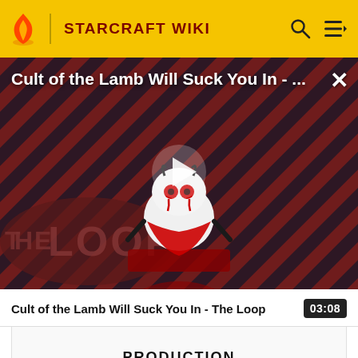STARCRAFT WIKI
[Figure (screenshot): Video thumbnail for 'Cult of the Lamb Will Suck You In - The Loop' showing a cartoon lamb character with red eyes on a striped red and dark background, with 'THE LOOP' text visible and a play button overlay. Title overlay reads 'Cult of the Lamb Will Suck You In - ...' with an X close button.]
Cult of the Lamb Will Suck You In - The Loop  03:08
PRODUCTION